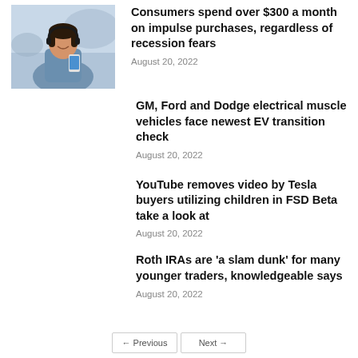[Figure (photo): Young woman smiling, using a smartphone outdoors]
Consumers spend over $300 a month on impulse purchases, regardless of recession fears
August 20, 2022
GM, Ford and Dodge electrical muscle vehicles face newest EV transition check
August 20, 2022
YouTube removes video by Tesla buyers utilizing children in FSD Beta take a look at
August 20, 2022
Roth IRAs are 'a slam dunk' for many younger traders, knowledgeable says
August 20, 2022